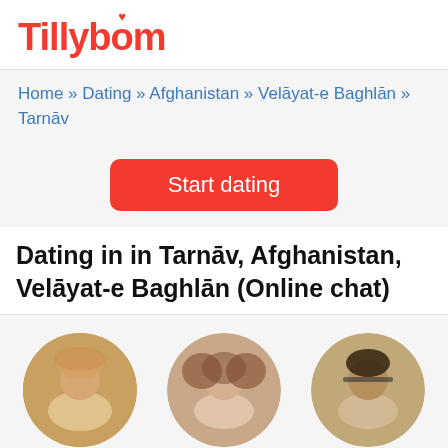Tillybom
Home » Dating » Afghanistan » Velāyat-e Baghlān » Tarnāv
Start dating
Dating in in Tarnāv, Afghanistan, Velāyat-e Baghlān (Online chat)
[Figure (photo): Profile photo of Kristin, 41]
[Figure (photo): Profile photo of Ellen, 75]
[Figure (photo): Profile photo of Salman, 31]
Kristin, 41
Ellen, 75
Salman, 31